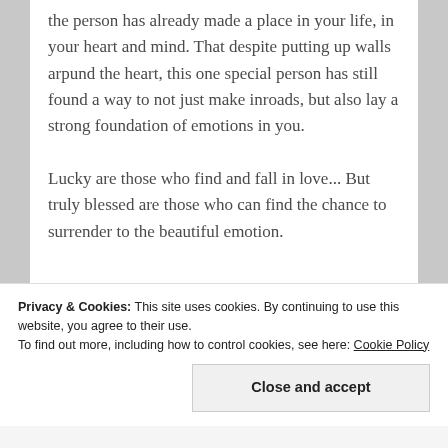the person has already made a place in your life, in your heart and mind. That despite putting up walls arpund the heart, this one special person has still found a way to not just make inroads, but also lay a strong foundation of emotions in you.

Lucky are those who find and fall in love... But truly blessed are those who can find the chance to surrender to the beautiful emotion.
Privacy & Cookies: This site uses cookies. By continuing to use this website, you agree to their use.
To find out more, including how to control cookies, see here: Cookie Policy
Close and accept